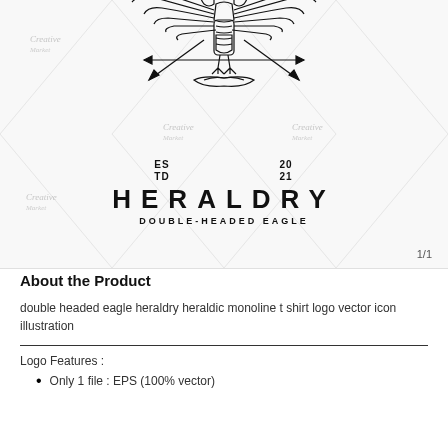[Figure (logo): Heraldry double-headed eagle monoline logo. Shows a stylized double-headed eagle illustration in black line art with arrows and wings spread. Below the eagle: 'ES TD' on the left and '20 21' on the right. Below that: 'HERALDRY' in bold wide-spaced letters and 'DOUBLE-HEADED EAGLE' as subtitle. Background has large diamond/X watermark grid lines and 'Creative' watermark text in four corners. '1/1' page label bottom right.]
About the Product
double headed eagle heraldry heraldic monoline t shirt logo vector icon illustration
Logo Features :
Only 1 file : EPS (100% vector)